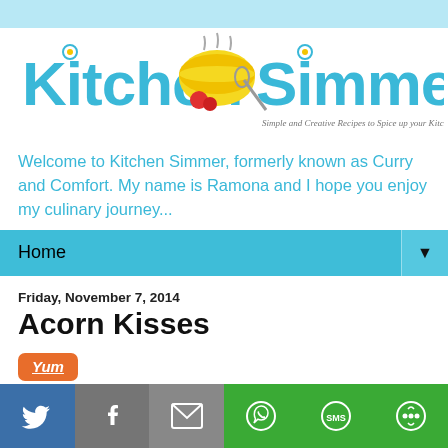[Figure (logo): Kitchen Simmer logo with teal/cyan text, yellow bowl with steam, whisk, tomatoes, and tagline 'Simple and Creative Recipes to Spice up your Kitchen']
Welcome to Kitchen Simmer, formerly known as Curry and Comfort. My name is Ramona and I hope you enjoy my culinary journey...
Home
Friday, November 7, 2014
Acorn Kisses
[Figure (other): Yum button - orange rounded rectangle with 'Yum' text]
[Figure (photo): Partial food photograph showing golden/yellow food item]
[Figure (infographic): Social sharing bar with Twitter, Facebook, Email, WhatsApp, SMS, and other share icons]